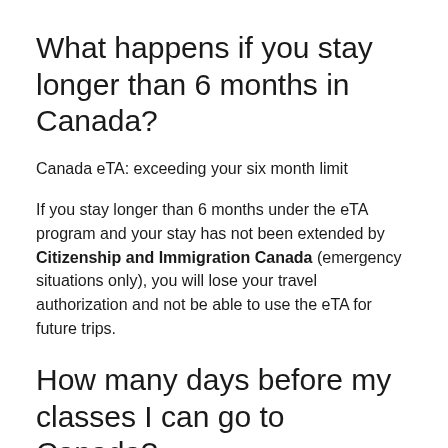What happens if you stay longer than 6 months in Canada?
Canada eTA: exceeding your six month limit
If you stay longer than 6 months under the eTA program and your stay has not been extended by Citizenship and Immigration Canada (emergency situations only), you will lose your travel authorization and not be able to use the eTA for future trips.
How many days before my classes I can go to Canada?